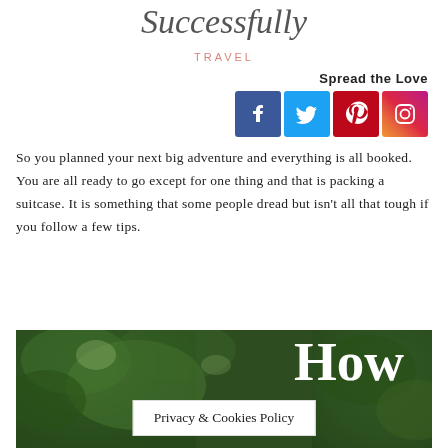Successfully
TRAVEL
Spread the Love
[Figure (other): Social media share buttons: Facebook, Twitter, Pinterest, Instagram]
So you planned your next big adventure and everything is all booked. You are all ready to go except for one thing and that is packing a suitcase. It is something that some people dread but isn't all that tough if you follow a few tips.
[Figure (photo): Forest/greenery background image with large white 'How' text overlay and a Privacy & Cookies Policy banner at the bottom]